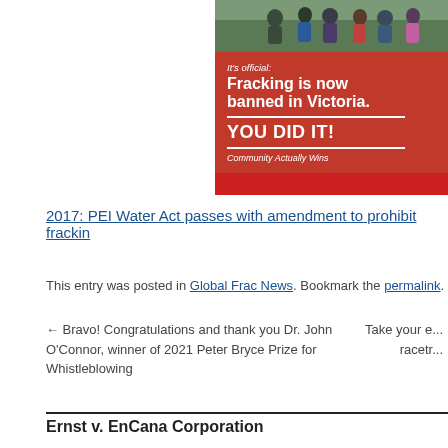[Figure (photo): Advertisement banner image showing people outdoors above a red box with text: 'It's official: Fracking is now banned in Victoria. YOU DID IT! Community Actually Wins']
2017: PEI Water Act passes with amendment to prohibit frackin...
This entry was posted in Global Frac News. Bookmark the permalink.
← Bravo! Congratulations and thank you Dr. John O'Connor, winner of 2021 Peter Bryce Prize for Whistleblowing
Take your e... racetr...
Ernst v. EnCana Corporation